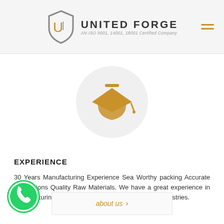UNITED FORGE — AN ISO 9001, 14001, 18001 Certified Company
[Figure (logo): United Forge shield logo with stylized U and I letters, orange and grey color scheme]
[Figure (illustration): Graduation cap / mortarboard icon in orange color on a light grey circular background]
EXPERIENCE
30 Years Manufacturing Experience Sea Worthy packing Accurate Dimensions Quality Raw Materials. We have a great experience in manufacturing and Exporting a product for several industries.
about us >
[Figure (logo): WhatsApp green circular button icon at bottom left]